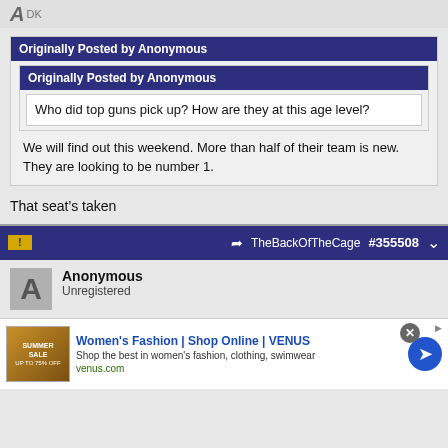[Figure (screenshot): Forum post screenshot showing nested quote boxes with 'Originally Posted by Anonymous' headers in dark blue/purple, containing text about top guns and a reply about finding out this weekend.]
Originally Posted by Anonymous
Originally Posted by Anonymous
Who did top guns pick up? How are they at this age level?
We will find out this weekend. More than half of their team is new. They are looking to be number 1.
That seat's taken
Anonymous
Unregistered
Women's Fashion | Shop Online | VENUS
Shop the best in women's fashion, clothing, swimwear
venus.com